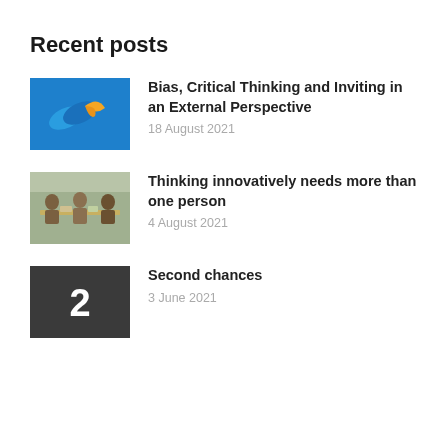Recent posts
Bias, Critical Thinking and Inviting in an External Perspective
18 August 2021
Thinking innovatively needs more than one person
4 August 2021
Second chances
3 June 2021